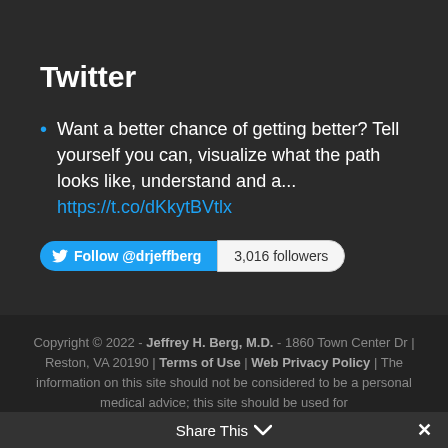Twitter
Want a better chance of getting better? Tell yourself you can, visualize what the path looks like, understand and a... https://t.co/dKkytBVtlx
[Figure (other): Follow @drjeffberg Twitter button with 3,016 followers badge]
Copyright © 2022 - Jeffrey H. Berg, M.D. - 1860 Town Center Dr | Reston, VA 20190 | Terms of Use | Web Privacy Policy | The information on this site should not be considered to be a personal medical advice; this site should be used for